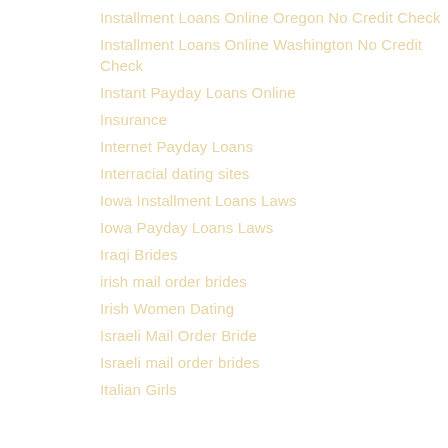Installment Loans Online Oregon No Credit Check
Installment Loans Online Washington No Credit Check
Instant Payday Loans Online
Insurance
Internet Payday Loans
Interracial dating sites
Iowa Installment Loans Laws
Iowa Payday Loans Laws
Iraqi Brides
irish mail order brides
Irish Women Dating
Israeli Mail Order Bride
Israeli mail order brides
Italian Girls